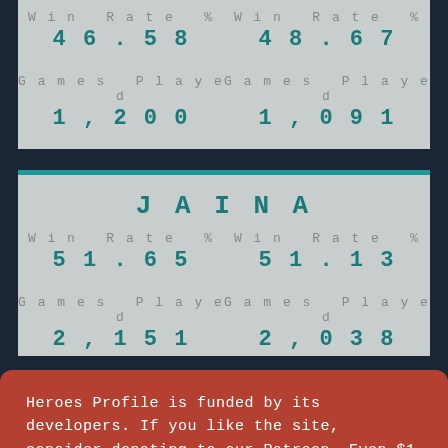Win Rate % 46.58 | Win Rate % 48.67
Games Played 1,200 | Games Played 1,091
JAINA
Win Rate % 51.65 | Win Rate % 51.13
Games Played 2,151 | Games Played 2,038
JOHANNA
Heroes Profile is funded by its developers. If you like the site, consider donating to our Patreon. Even $1 helps. The data on this website relies on replays uploaded to Heroes Profile API. Make sure you go there to upload your data. If you do not upload your replays, your data will not be accurate. This site uses cookies in order to store